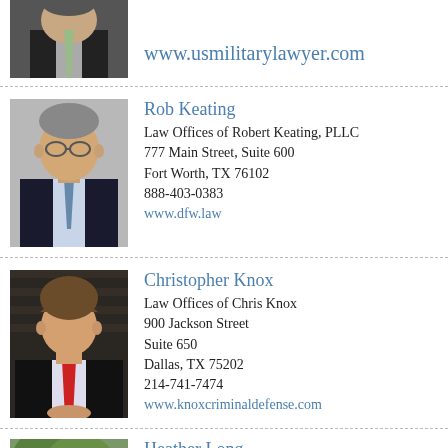[Figure (photo): Partial photo of a lawyer in a suit at the top of the page]
www.usmilitarylawyer.com
[Figure (photo): Headshot of Rob Keating, a middle-aged man with glasses in a dark suit]
Rob Keating
Law Offices of Robert Keating, PLLC
777 Main Street, Suite 600
Fort Worth, TX 76102
888-403-0383
www.dfw.law
[Figure (photo): Headshot of Christopher Knox, a young man in a dark suit with a red tie]
Christopher Knox
Law Offices of Chris Knox
900 Jackson Street
Suite 650
Dallas, TX 75202
214-741-7474
www.knoxcriminaldefense.com
[Figure (photo): Partial photo of Heather Long at the bottom of the page]
Heather Long